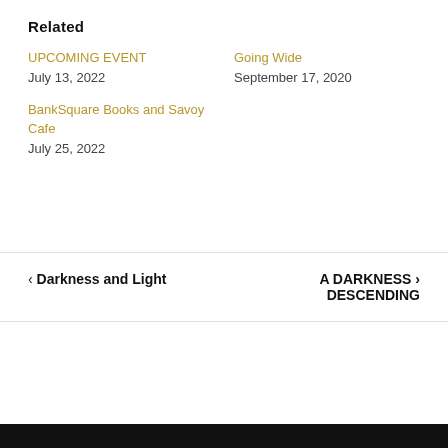Related
UPCOMING EVENT
July 13, 2022
Going Wide
September 17, 2020
BankSquare Books and Savoy Cafe
July 25, 2022
‹ Darkness and Light
A DARKNESS › DESCENDING